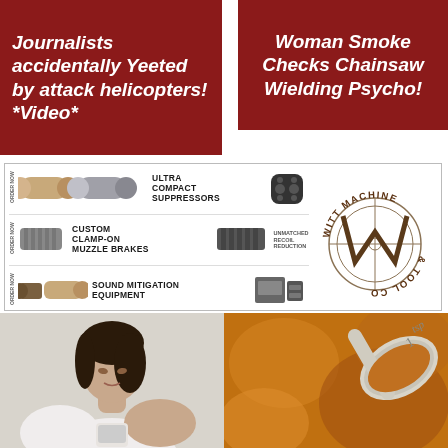Journalists accidentally Yeeted by attack helicopters! *Video*
Woman Smoke Checks Chainsaw Wielding Psycho!
[Figure (photo): Witt Machine & Tool Co advertisement banner showing ultra compact suppressors, custom clamp-on muzzle brakes, and sound mitigation equipment with product images and company logo]
[Figure (photo): Photo of a woman in a white tank top looking down, alongside a close-up photo of orange spice powder with a measuring spoon]